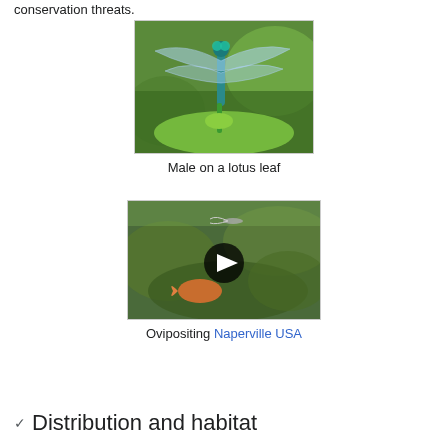conservation threats.
[Figure (photo): A dragonfly (male) perched on a lotus leaf, close-up macro photograph showing iridescent blue-green coloring against green background]
Male on a lotus leaf
[Figure (photo): Video thumbnail showing ovipositing dragonfly near water with aquatic plants and fish visible, with a play button overlay. Location: Naperville USA]
Ovipositing Naperville USA
Distribution and habitat